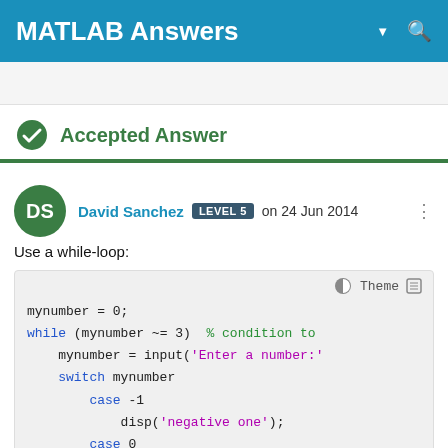MATLAB Answers
Accepted Answer
David Sanchez LEVEL 5 on 24 Jun 2014
Use a while-loop:
[Figure (screenshot): MATLAB code block showing a while-loop with switch-case statements: mynumber = 0; while (mynumber ~= 3)  % condition to ... mynumber = input('Enter a number:' ... switch mynumber  case -1  disp('negative one');  case 0  disp('zero');]